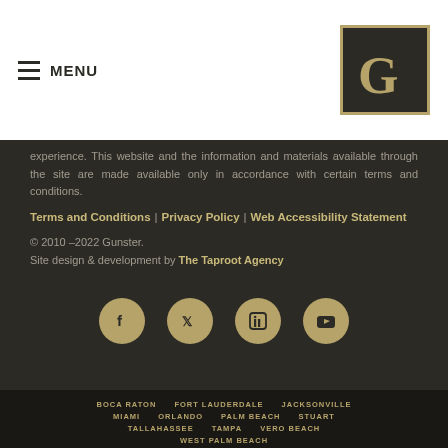MENU
[Figure (logo): Gunster law firm logo - stylized G letter in gold on dark background]
experience. This website and the information and materials available through the site are made available only in accordance with certain terms and conditions.
Terms and Conditions | Privacy Policy | Web Accessibility Statement
© 2010 –2022 Gunster.
Site design & development by The Taproot Agency
[Figure (infographic): Social media icons row: Facebook, Twitter, LinkedIn, YouTube — gold circles on dark background]
BOCA RATON  FORT LAUDERDALE  JACKSONVILLE  MIAMI  ORLANDO  PALM BEACH  STUART  TALLAHASSEE  TAMPA  VERO BEACH  WEST PALM BEACH